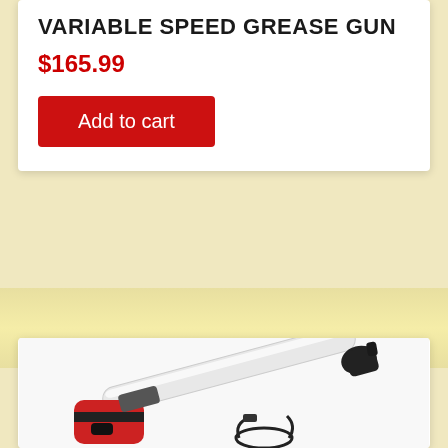VARIABLE SPEED GREASE GUN
$165.99
Add to cart
[Figure (photo): Variable speed grease gun — elongated white barrel with black grip collar at top right, red and black motor/handle unit at bottom left with a USB charging cable coiled nearby, photographed on white background.]